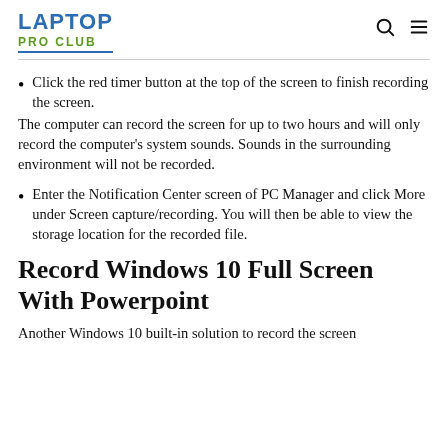LAPTOP PRO CLUB
Click the red timer button at the top of the screen to finish recording the screen.
The computer can record the screen for up to two hours and will only record the computer's system sounds. Sounds in the surrounding environment will not be recorded.
Enter the Notification Center screen of PC Manager and click More under Screen capture/recording. You will then be able to view the storage location for the recorded file.
Record Windows 10 Full Screen With Powerpoint
Another Windows 10 built-in solution to record the screen